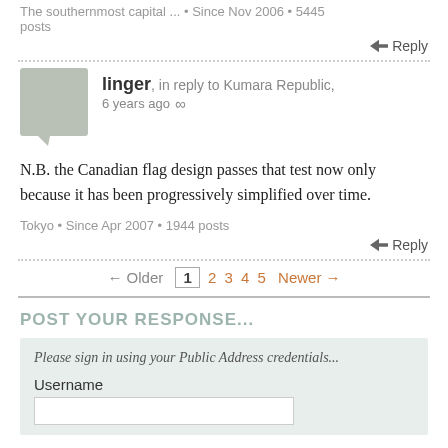The southernmost capital ... • Since Nov 2006 • 5445 posts
Reply
linger, in reply to Kumara Republic, 6 years ago ∞
N.B. the Canadian flag design passes that test now only because it has been progressively simplified over time.
Tokyo • Since Apr 2007 • 1944 posts
Reply
← Older  1  2  3  4  5  Newer →
POST YOUR RESPONSE...
Please sign in using your Public Address credentials...
Username